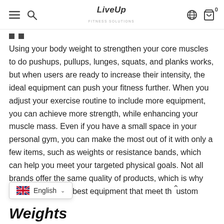LiveUp
Using your body weight to strengthen your core muscles to do pushups, pullups, lunges, squats, and planks works, but when users are ready to increase their intensity, the ideal equipment can push your fitness further. When you adjust your exercise routine to include more equipment, you can achieve more strength, while enhancing your muscle mass. Even if you have a small space in your personal gym, you can make the most out of it with only a few items, such as weights or resistance bands, which can help you meet your targeted physical goals. Not all brands offer the same quality of products, which is why we search for the best equipment that meet th…ustom
Weights